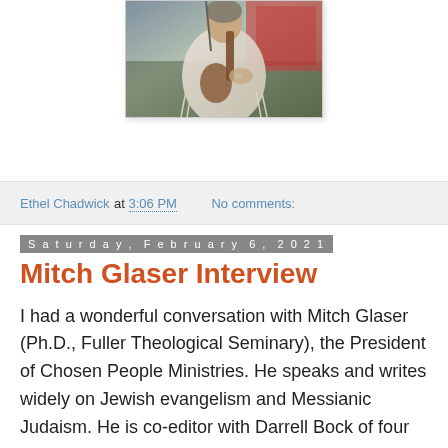[Figure (photo): Person playing guitar wearing a white fringed shawl, photographed outdoors]
Ethel Chadwick at 3:06 PM   No comments:
Saturday, February 6, 2021
Mitch Glaser Interview
I had a wonderful conversation with Mitch Glaser (Ph.D., Fuller Theological Seminary), the President of Chosen People Ministries. He speaks and writes widely on Jewish evangelism and Messianic Judaism. He is co-editor with Darrell Bock of four academic volumes published by Kregel